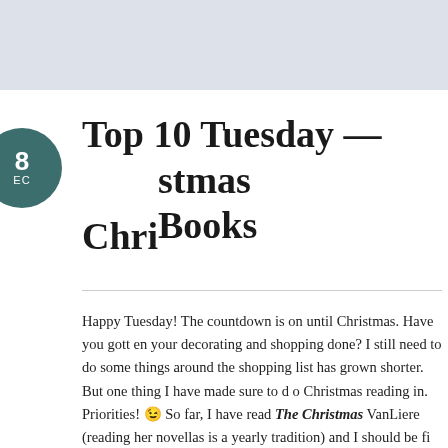Top 10 Tuesday — Christmas Books
Happy Tuesday! The countdown is on until Christmas. Have you gotten your decorating and shopping done? I still need to do some things around the house but my shopping list has grown shorter. But one thing I have made sure to do is get my Christmas reading in. Priorities! 😉 So far, I have read The Christmas VanLiere (reading her novellas is a yearly tradition) and I should be finishing the Christmas Heirloom novella collection today (really great; review to come). Christmas books often fall into the romance genre (who doesn't like